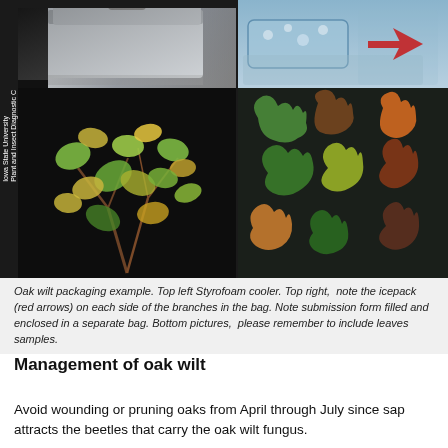[Figure (photo): Composite of four photos showing oak wilt packaging. Top left: Styrofoam cooler. Top right: icepack with red arrow on each side of branches in a bag. Bottom left: oak branches with yellowing and browning leaves. Bottom right: spread of oak leaves in various stages of discoloration.]
Oak wilt packaging example. Top left Styrofoam cooler. Top right,  note the icepack (red arrows) on each side of the branches in the bag. Note submission form filled and enclosed in a separate bag. Bottom pictures,  please remember to include leaves samples.
Management of oak wilt
Avoid wounding or pruning oaks from April through July since sap attracts the beetles that carry the oak wilt fungus.